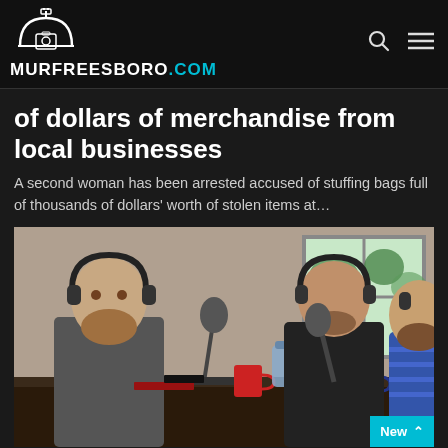MURFREESBORO.COM
of dollars of merchandise from local businesses
A second woman has been arrested accused of stuffing bags full of thousands of dollars' worth of stolen items at…
[Figure (photo): Three men sitting around a table recording a podcast, each wearing headphones and speaking into professional microphones. A water bottle and mugs are visible on the table.]
Murfreesboro.com   July 29, 2021